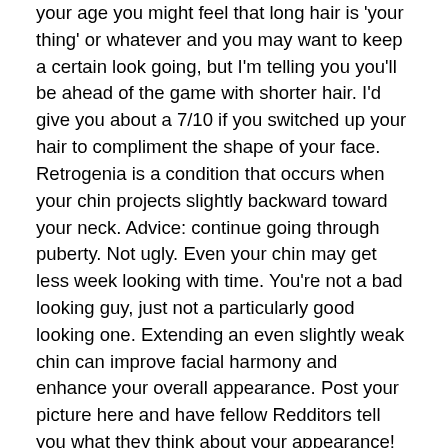your age you might feel that long hair is 'your thing' or whatever and you may want to keep a certain look going, but I'm telling you you'll be ahead of the game with shorter hair. I'd give you about a 7/10 if you switched up your hair to compliment the shape of your face. Retrogenia is a condition that occurs when your chin projects slightly backward toward your neck. Advice: continue going through puberty. Not ugly. Even your chin may get less week looking with time. You're not a bad looking guy, just not a particularly good looking one. Extending an even slightly weak chin can improve facial harmony and enhance your overall appearance. Post your picture here and have fellow Redditors tell you what they think about your appearance! Continue this thread level 1. Looks like you're using new Reddit on an old browser. Definitely not a model but nothing horrifying. This makes the chin less pronounced, and it can create an unbalanced facial appearance. 2. share. Honestly there's nothing wrong with it. It is that you have a round face. Its the best thing I've found. Yeah I